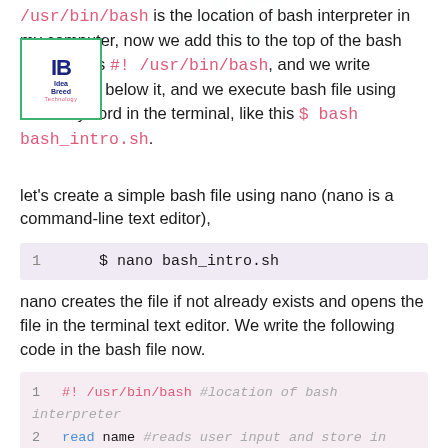/usr/bin/bash is the location of bash interpreter in my computer, now we add this to the top of the bash file, like this #! /usr/bin/bash, and we write commands below it, and we execute bash file using bash keyword in the terminal, like this $ bash bash_intro.sh.
[Figure (logo): IdeaBreed Technology logo inside a green rectangle border]
let's create a simple bash file using nano (nano is a command-line text editor),
1    $ nano bash_intro.sh
nano creates the file if not already exists and opens the file in the terminal text editor. We write the following code in the bash file now.
1  #! /usr/bin/bash #location of bash interpreter
2  read name #reads user input and store in the varia
3  echo "Hello world, I am $name"  #echo displays the